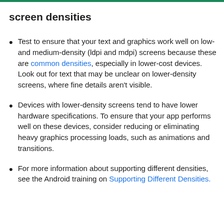Test text and graphics on ldpi and mdpi screen densities
Test to ensure that your text and graphics work well on low- and medium-density (ldpi and mdpi) screens because these are common densities, especially in lower-cost devices. Look out for text that may be unclear on lower-density screens, where fine details aren't visible.
Devices with lower-density screens tend to have lower hardware specifications. To ensure that your app performs well on these devices, consider reducing or eliminating heavy graphics processing loads, such as animations and transitions.
For more information about supporting different densities, see the Android training on Supporting Different Densities.